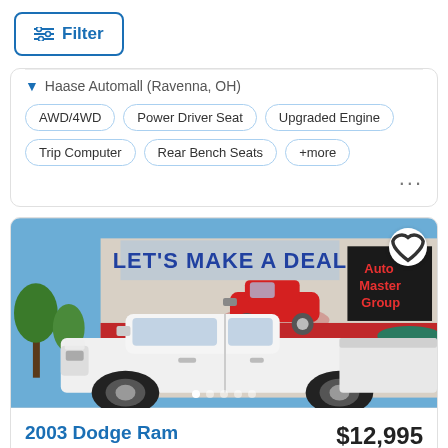Filter
Haase Automall (Ravenna, OH)
AWD/4WD
Power Driver Seat
Upgraded Engine
Trip Computer
Rear Bench Seats
+more
[Figure (photo): Exterior photo of Auto Master Group car dealership with 'Let's Make a Deal' sign and a red classic car on the roof. A white Dodge Ram Pickup 3500 truck is parked in the foreground.]
2003 Dodge Ram Pickup 3500
$12,995
great price